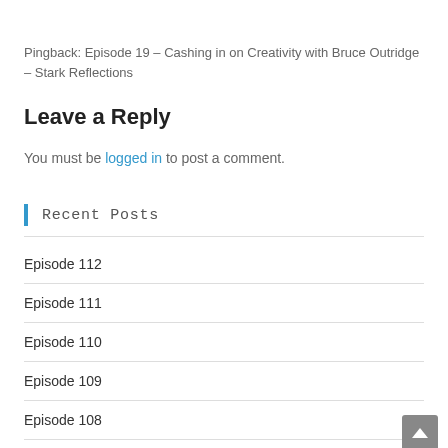Pingback: Episode 19 – Cashing in on Creativity with Bruce Outridge – Stark Reflections
Leave a Reply
You must be logged in to post a comment.
Recent Posts
Episode 112
Episode 111
Episode 110
Episode 109
Episode 108